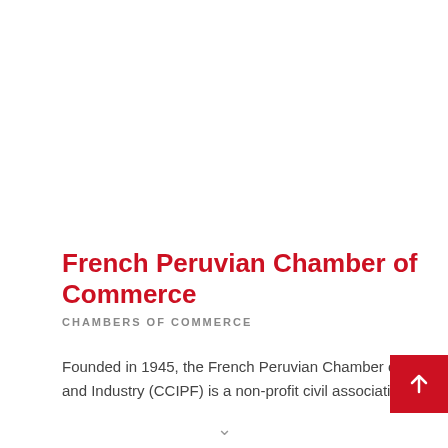French Peruvian Chamber of Commerce
CHAMBERS OF COMMERCE
Founded in 1945, the French Peruvian Chamber of Commerce and Industry (CCIPF) is a non-profit civil association aiming at